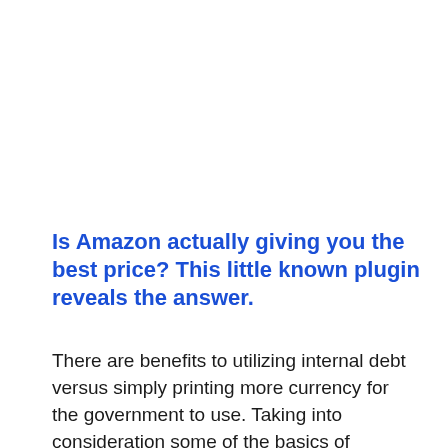Is Amazon actually giving you the best price? This little known plugin reveals the answer.
There are benefits to utilizing internal debt versus simply printing more currency for the government to use. Taking into consideration some of the basics of macroeconomics, going with this strategy can often allow the